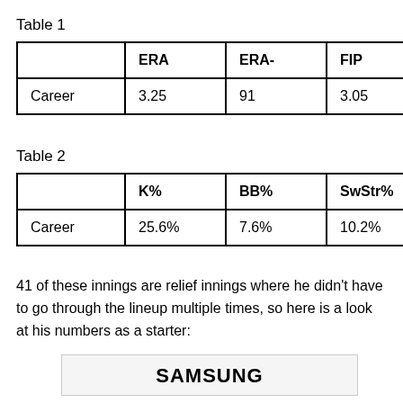Table 1
|  | ERA | ERA- | FIP | FIP- | x… |
| --- | --- | --- | --- | --- | --- |
| Career | 3.25 | 91 | 3.05 | 85 | 3… |
Table 2
|  | K% | BB% | SwStr% | GB%… |
| --- | --- | --- | --- | --- |
| Career | 25.6% | 7.6% | 10.2% | 41.7… |
41 of these innings are relief innings where he didn't have to go through the lineup multiple times, so here is a look at his numbers as a starter:
[Figure (logo): Samsung logo/advertisement box]